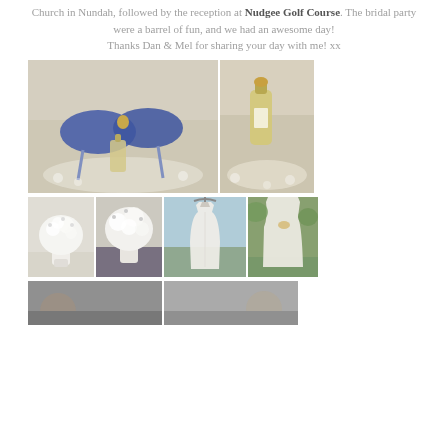Church in Nundah, followed by the reception at Nudgee Golf Course. The bridal party were a barrel of fun, and we had an awesome day! Thanks Dan & Mel for sharing your day with me! xx
[Figure (photo): Two wide photos side by side: left shows blue glitter high heels with perfume bottle on lace fabric; right shows a perfume bottle on lace fabric close-up]
[Figure (photo): Four small photos in a row: two of white baby's breath flower bouquets, two of a white wedding dress hanging outdoors]
[Figure (photo): Two partially visible photos at the bottom of the page]